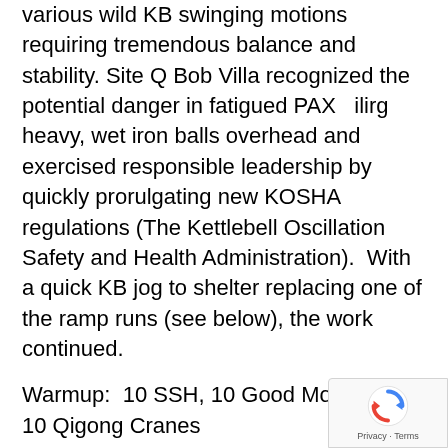various wild KB swinging motions requiring tremendous balance and stability. Site Q Bob Villa recognized the potential danger in fatigued PAX lifting heavy, wet iron balls overhead and exercised responsible leadership by quickly promulgating new KOSHA regulations (The Kettlebell Oscillation Safety and Health Administration). With a quick KB jog to shelter replacing one of the ramp runs (see below), the work continued.
Warmup:  10 SSH, 10 Good Mornings & 10 Qigong Cranes
The thang:
4 rounds:
10 one-arm swings (switch arms)